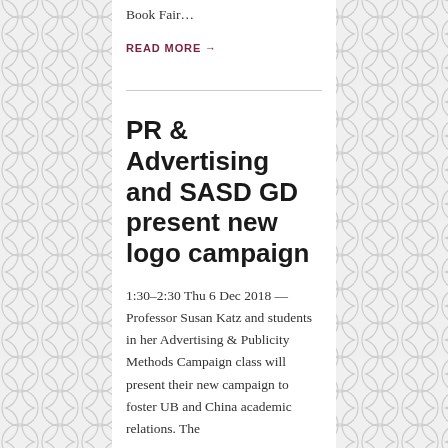Book Fair…
READ MORE →
PR & Advertising and SASD GD present new logo campaign
1:30–2:30 Thu 6 Dec 2018 — Professor Susan Katz and students in her Advertising & Publicity Methods Campaign class will present their new campaign to foster UB and China academic relations. The